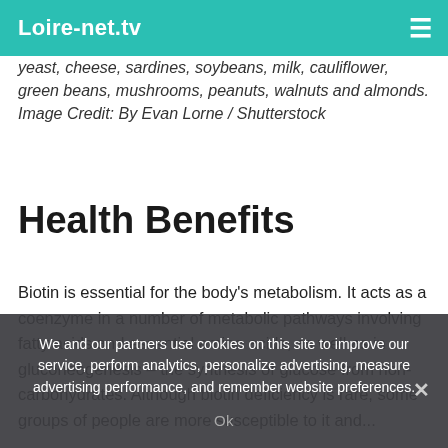Loire-net.tv
yeast, cheese, sardines, soybeans, milk, cauliflower, green beans, mushrooms, peanuts, walnuts and almonds. Image Credit: By Evan Lorne / Shutterstock
Health Benefits
Biotin is essential for the body's metabolism. It acts as a coenzyme in a number of metabolic pathways involving fatty acids and essential amino acids, as well as in gluconeogenesis – the synthesis of glucose from non-carbohydrates. Although biotin deficiency is rare, some groups of people are more susceptible to it and...
We and our partners use cookies on this site to improve our service, perform analytics, personalize advertising, measure advertising performance, and remember website preferences.
Ok